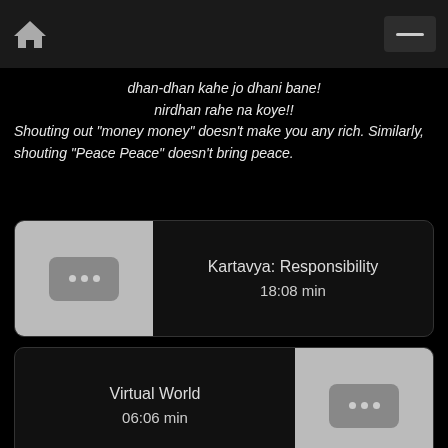Home menu
dhan-dhan kahe jo dhani bane!
nirdhan rahe na koye!!
Shouting out "money money" doesn't make you any rich. Similarly, shouting "Peace Peace" doesn't bring peace.
[Figure (screenshot): Video thumbnail placeholder with three dots icon for Kartavya: Responsibility, 18:08 min]
[Figure (screenshot): Video thumbnail placeholder with three dots icon for Virtual World, 06:06 min]